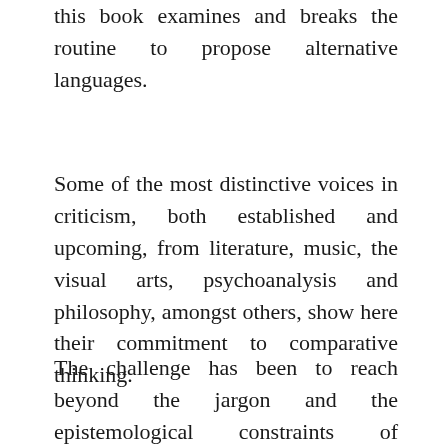this book examines and breaks the routine to propose alternative languages.
Some of the most distinctive voices in criticism, both established and upcoming, from literature, music, the visual arts, psychoanalysis and philosophy, amongst others, show here their commitment to comparative thinking.
The challenge has been to reach beyond the jargon and the epistemological constraints of individual disciplines while remaining coherent and incisive.